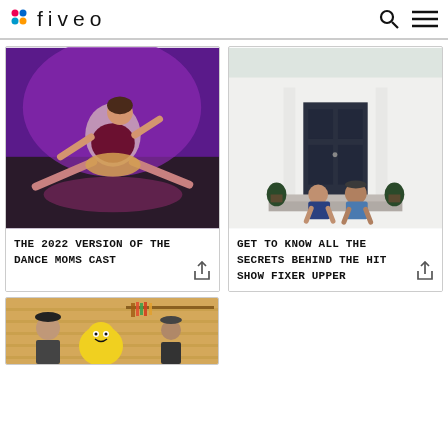fiveo
[Figure (photo): Dancer performing splits on stage with purple lighting]
THE 2022 VERSION OF THE DANCE MOMS CAST
[Figure (photo): Couple sitting on front steps of a house with dark doors and green plants]
GET TO KNOW ALL THE SECRETS BEHIND THE HIT SHOW FIXER UPPER
[Figure (photo): Partial view of a room with wooden walls and a yellow plush figure]